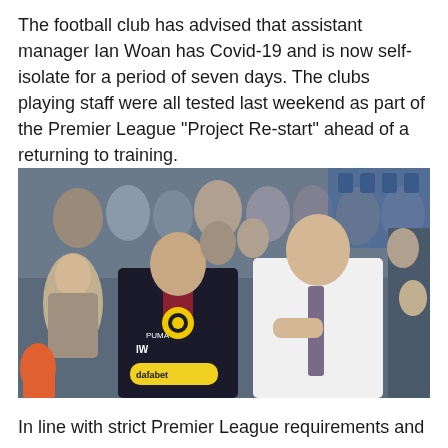The football club has advised that assistant manager Ian Woan has Covid-19 and is now self-isolate for a period of seven days. The clubs playing staff were all tested last weekend as part of the Premier League “Project Re-start” ahead of a returning to training.
[Figure (photo): Two men standing on a football touchline in front of a crowd. The man on the left wears a dark Burnley FC training jacket with 'IW' initials and a dafabet sponsor logo. The man on the right wears a white shirt and grey tie with his hand raised to his chin in a pensive pose.]
In line with strict Premier League requirements and